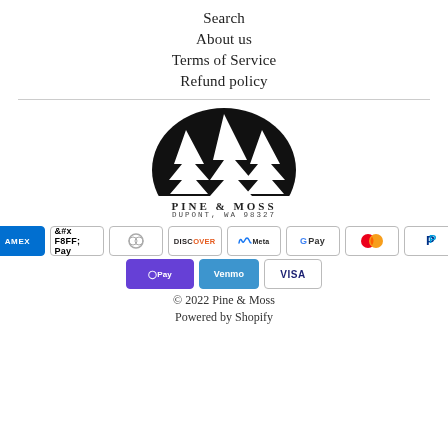Search
About us
Terms of Service
Refund policy
[Figure (logo): Pine & Moss logo: black semicircle with white pine tree silhouettes, text PINE & MOSS DUPONT, WA 98327]
[Figure (infographic): Payment method badges: American Express, Apple Pay, Diners Club, Discover, Meta Pay, Google Pay, Mastercard, PayPal, Shop Pay, Venmo, Visa]
© 2022 Pine & Moss
Powered by Shopify